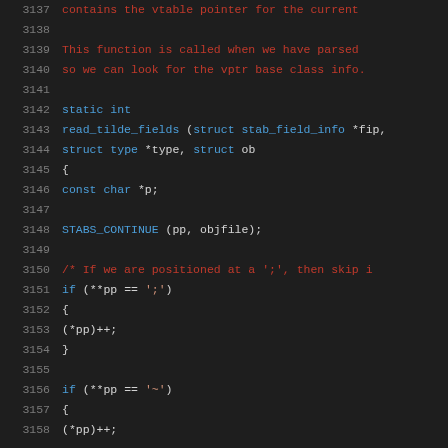[Figure (screenshot): Source code listing showing lines 3137-3158 of a C program. Lines include comments in red about vtable pointer and vptr base class info, a static int function declaration 'read_tilde_fields', variable declaration, STABS_CONTINUE macro call, and conditional checks for ';' and '~' characters. Dark background IDE theme with blue keywords and red comments.]